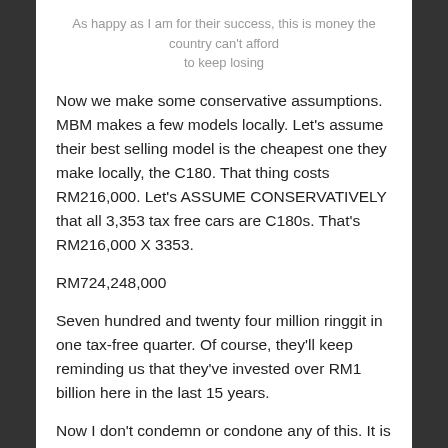As happy as I am for their success, this is money the country can't afford to keep losing
Now we make some conservative assumptions. MBM makes a few models locally. Let's assume their best selling model is the cheapest one they make locally, the C180. That thing costs RM216,000. Let's ASSUME CONSERVATIVELY that all 3,353 tax free cars are C180s. That's RM216,000 X 3353.
RM724,248,000
Seven hundred and twenty four million ringgit in one tax-free quarter. Of course, they'll keep reminding us that they've invested over RM1 billion here in the last 15 years.
Now I don't condemn or condone any of this. It is what it is. BMW and Volvo just don't like giving us as many numbers to play with quite as much, so if anything I tip my hat to MBM's openness and honesty with the media and public.
But it does show that the premium segment is where the real